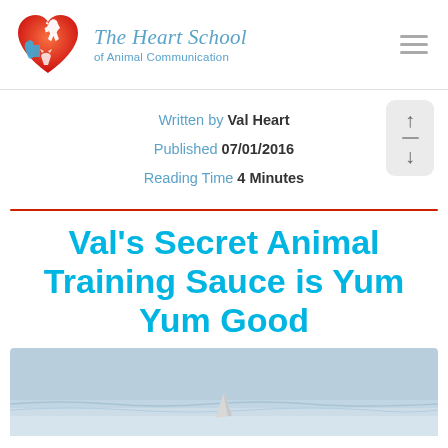The Heart School of Animal Communication
Written by Val Heart
Published 07/01/2016
Reading Time 4 Minutes
Val's Secret Animal Training Sauce is Yum Yum Good
[Figure (photo): Photo of a dolphin fin visible above ocean water surface]